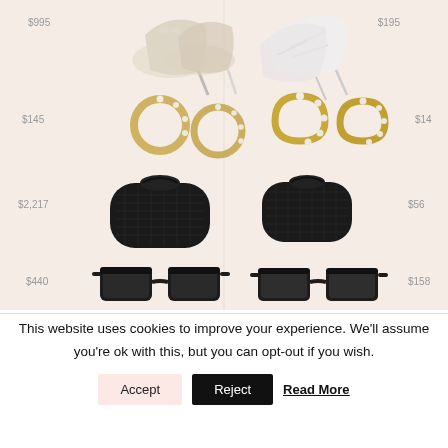[Figure (infographic): Fashion product comparison collage on pink/beige background. Left column shows: high heels ($995), gold hoop earrings with pearls ($145), black woven leather mini bag ($2,217), black cat-eye sunglasses ($440). Right column shows: white strappy heels ($195), small gold pearl huggie hoop earrings ($14), black woven leather mini bag ($56), black cat-eye sunglasses ($158).]
This website uses cookies to improve your experience. We'll assume you're ok with this, but you can opt-out if you wish.
Accept  Reject  Read More